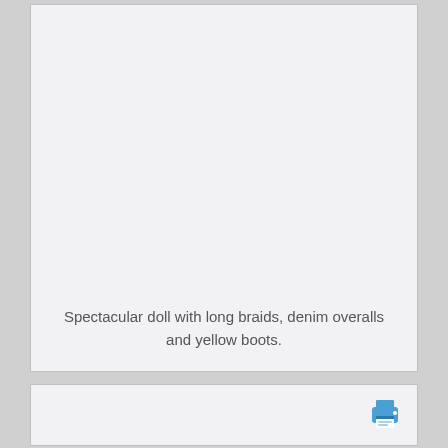[Figure (other): Large light gray placeholder image box with caption text at the bottom]
Spectacular doll with long braids, denim overalls and yellow boots.
[Figure (other): Light gray box with a blue printer icon in the top-right corner]